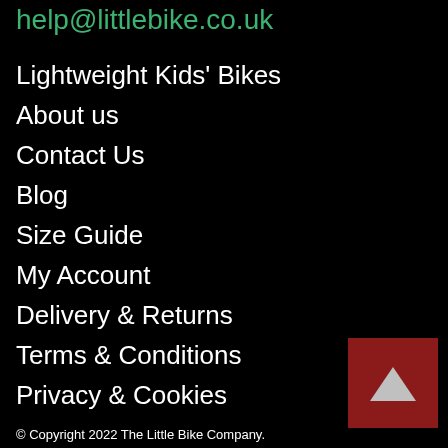help@littlebike.co.uk
Lightweight Kids' Bikes
About us
Contact Us
Blog
Size Guide
My Account
Delivery & Returns
Terms & Conditions
Privacy & Cookies
[Figure (other): Dark red square button with upward-pointing triangle arrow (back to top button)]
© Copyright 2022 The Little Bike Company.